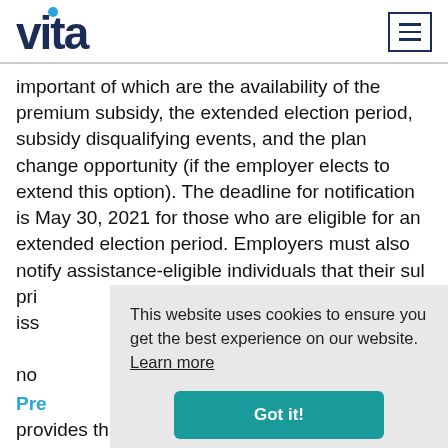vita
important of which are the availability of the premium subsidy, the extended election period, subsidy disqualifying events, and the plan change opportunity (if the employer elects to extend this option). The deadline for notification is May 30, 2021 for those who are eligible for an extended election period. Employers must also notify assistance-eligible individuals that their subsidy expires and the expiration date, that premium assistance is no longer available if a disqualifying event is issued, and that there is a right to enroll in other coverage if no longer eligible.
Pre
provides that the mechanism for employers to
This website uses cookies to ensure you get the best experience on our website.  Learn more
Got it!